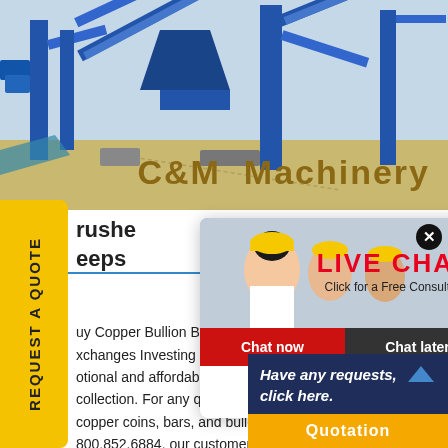[Figure (photo): Industrial heavy machinery / conveyor equipment at an outdoor facility, blue steel structures]
C&M  Machinery
[Figure (photo): Live chat popup with construction workers in hard hats and LIVE CHAT label, Chat now / Chat later buttons]
rushe
eeps
uy Copper Bullion Bars & Rounds O
xchanges Investing in copper bullio
otional and affordable way to start y
collection. For any questions on cop
copper coins, bars, and bullets call u
800.852.6884, our customer service
[Figure (photo): Customer service representative woman with headset smiling]
Have any requests, click here.
Quotation